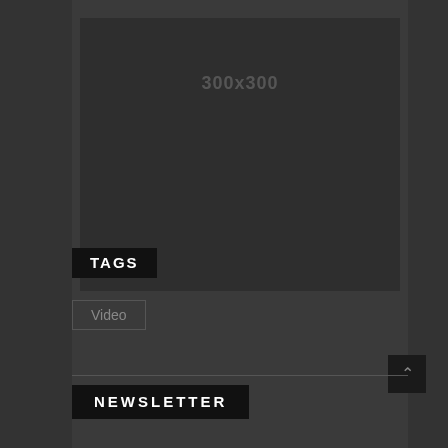[Figure (other): Image placeholder showing '300x300' dimensions text on dark background]
TAGS
Video
NEWSLETTER